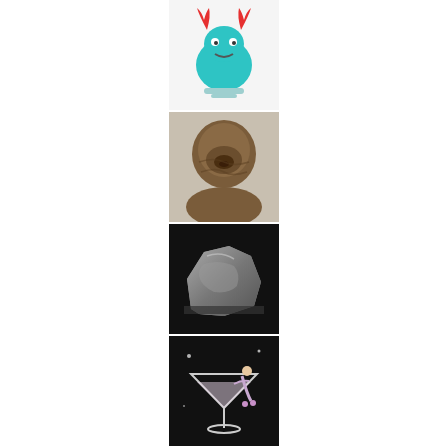[Figure (illustration): Avatar icon: cartoon blue robot/alien with red antlers/horns on a light background]
limpd
[Figure (photo): Avatar photo: Chewbacca from Star Wars]
The Wookie
[Figure (photo): Avatar photo: a rock or stone on a dark background]
The ROK
[Figure (illustration): Avatar image: a figurine or brooch of a woman sitting on a martini glass, on dark background]
Sarah - BeautifulTangibleThings